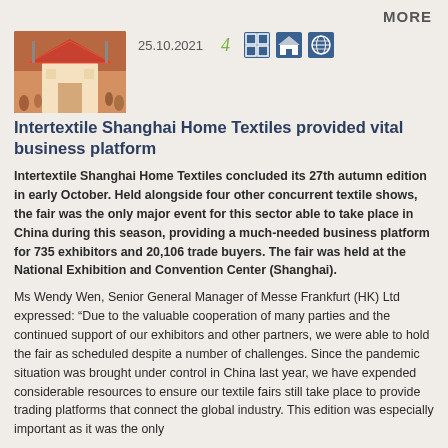MORE
[Figure (photo): Thumbnail photo of a textile fair exhibition pavilion with red and white structure and visitors in the background]
25.10.2021
Intertextile Shanghai Home Textiles provided vital business platform
Intertextile Shanghai Home Textiles concluded its 27th autumn edition in early October. Held alongside four other concurrent textile shows, the fair was the only major event for this sector able to take place in China during this season, providing a much-needed business platform for 735 exhibitors and 20,106 trade buyers. The fair was held at the National Exhibition and Convention Center (Shanghai).
Ms Wendy Wen, Senior General Manager of Messe Frankfurt (HK) Ltd expressed: “Due to the valuable cooperation of many parties and the continued support of our exhibitors and other partners, we were able to hold the fair as scheduled despite a number of challenges. Since the pandemic situation was brought under control in China last year, we have expended considerable resources to ensure our textile fairs still take place to provide trading platforms that connect the global industry. This edition was especially important as it was the only